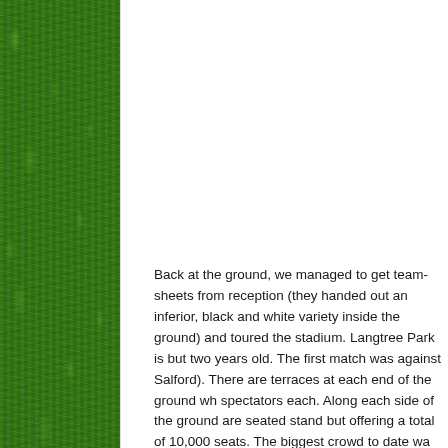[Figure (photo): Green grass/turf background image on the left side of the page]
Back at the ground, we managed to get team-sheets from reception (they handed out an inferior, black and white variety inside the ground) and toured the stadium. Langtree Park is but two years old. The first match was played in 2012 (against Salford). There are terraces at each end of the ground which can hold 2,000 spectators each. Along each side of the ground are seated stands, each different, but offering a total of 10,000 seats. The biggest crowd to date was against Wigan Warriors. Last season's average gate was 14,212. Tonight's attendance...